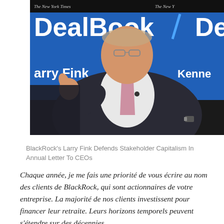[Figure (photo): Photo of Larry Fink speaking at a New York Times DealBook event, seated in front of a blue backdrop with 'DealBook' and 'Larry Fink' text visible. He is gesturing with his right hand and wearing a dark suit with a pink tie.]
BlackRock's Larry Fink Defends Stakeholder Capitalism In Annual Letter To CEOs
Chaque année, je me fais une priorité de vous écrire au nom des clients de BlackRock, qui sont actionnaires de votre entreprise. La majorité de nos clients investissent pour financer leur retraite. Leurs horizons temporels peuvent s'étendre sur des décennies.